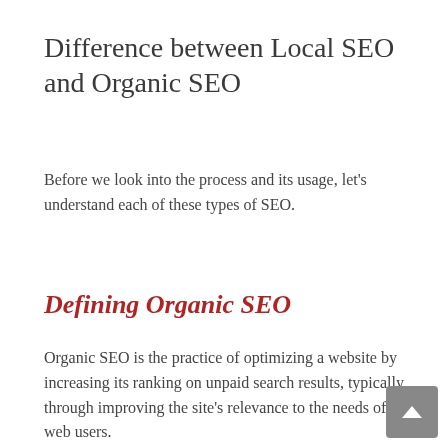Difference between Local SEO and Organic SEO
Before we look into the process and its usage, let's understand each of these types of SEO.
Defining Organic SEO
Organic SEO is the practice of optimizing a website by increasing its ranking on unpaid search results, typically through improving the site's relevance to the needs of web users.